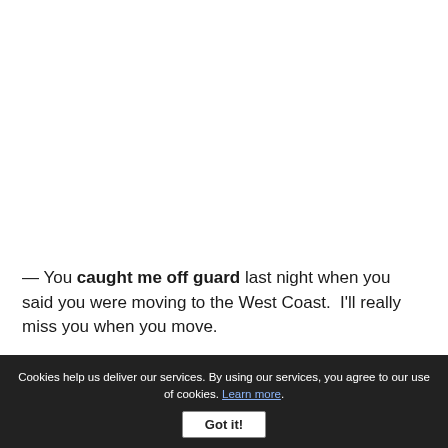— You caught me off guard last night when you said you were moving to the West Coast.  I'll really miss you when you move.

— Here are some questions for you to review so you
Cookies help us deliver our services. By using our services, you agree to our use of cookies. Learn more.